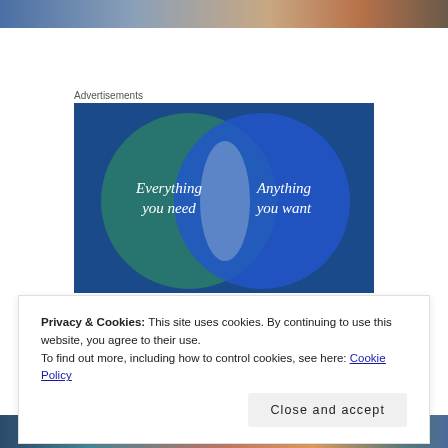[Figure (photo): Cropped top portion of an image, appears to be a painting or artistic photo with blue and warm tones]
Advertisements
[Figure (infographic): Venn diagram advertisement with two overlapping circles on a blue/teal background. Left circle (green/teal) says 'Everything you need', right circle (blue) says 'Anything you want', with a light overlapping center region.]
Privacy & Cookies: This site uses cookies. By continuing to use this website, you agree to their use.
To find out more, including how to control cookies, see here: Cookie Policy
Close and accept
[Figure (photo): Cropped bottom portion of an image showing a woman's face and colorful background]